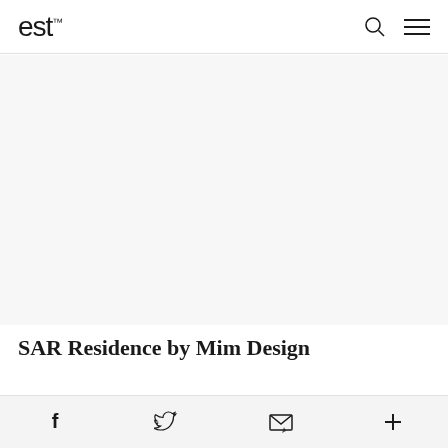est
[Figure (photo): Large blank/white image area representing the main hero photo for the SAR Residence article]
SAR Residence by Mim Design
Mim Design lifted cues from traditional Japanese design in their SAR Residence; a reimagined Victorian-era family home in
Facebook share, Twitter share, Email share, More